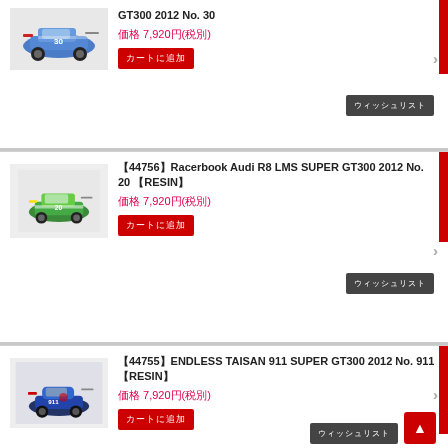[Figure (photo): Blue Audi R8 LMS race car model, GT300 2012 No. 30]
GT300 2012 No. 30
価格 7,920円(税別)
カートに追加
ウィッシュリスト
[Figure (photo): Green/white Audi R8 LMS race car model, Racerbook GT300 2012 No. 20]
【44756】Racerbook Audi R8 LMS SUPER GT300 2012 No. 20 【RESIN】
価格 7,920円(税別)
カートに追加
ウィッシュリスト
[Figure (photo): Blue Porsche 911 race car model, ENDLESS TAISAN GT300 2012 No. 911]
【44755】ENDLESS TAISAN 911 SUPER GT300 2012 No. 911 【RESIN】
価格 7,920円(税別)
カートに追加